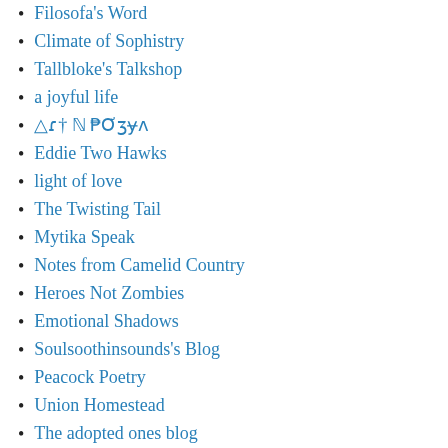Filosofa's Word
Climate of Sophistry
Tallbloke's Talkshop
a joyful life
△ɾ† ℕ ₱Ơʒɏʌ
Eddie Two Hawks
light of love
The Twisting Tail
Mytika Speak
Notes from Camelid Country
Heroes Not Zombies
Emotional Shadows
Soulsoothinsounds's Blog
Peacock Poetry
Union Homestead
The adopted ones blog